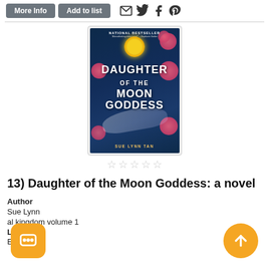More Info | Add to list | [social icons: email, twitter, facebook, pinterest]
[Figure (photo): Book cover of 'Daughter of the Moon Goddess' by Sue Lynn Tan. Dark blue background with floral and dragon motifs, gold moon at top. Text reads NATIONAL BESTSELLER at top.]
★☆☆☆☆ (5 empty stars rating)
13) Daughter of the Moon Goddess: a novel
Author
Sue Lynn
al kingdom volume 1
Language
English